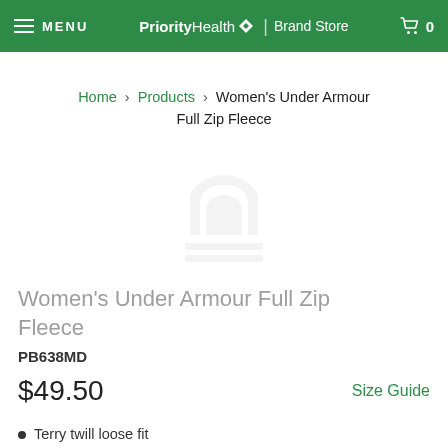MENU | PriorityHealth Brand Store | Cart 0
Home > Products > Women's Under Armour Full Zip Fleece
[Figure (logo): Faint Under Armour logo watermark in product image area]
Women's Under Armour Full Zip Fleece
PB638MD
$49.50
Size Guide
Terry twill loose fit